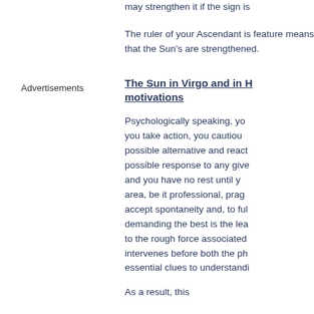may strengthen it if the sign is
The ruler of your Ascendant is feature means that the Sun's are strengthened.
The Sun in Virgo and in H motivations
Psychologically speaking, you you take action, you cautious possible alternative and react possible response to any give and you have no rest until y area, be it professional, prag accept spontaneity and, to ful demanding the best is the lea to the rough force associated intervenes before both the ph essential clues to understandi
As a result, this
Advertisements